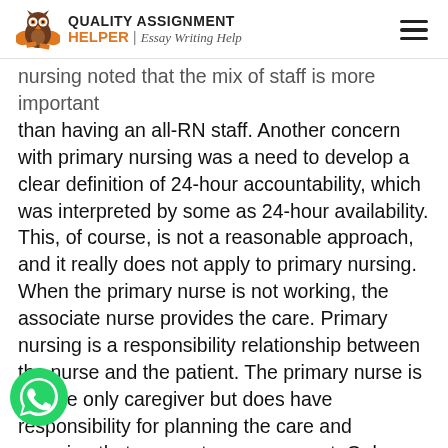QUALITY ASSIGNMENT HELPER | Essay Writing Help
nursing noted that the mix of staff is more important than having an all-RN staff. Another concern with primary nursing was a need to develop a clear definition of 24-hour accountability, which was interpreted by some as 24-hour availability. This, of course, is not a reasonable approach, and it really does not apply to primary nursing. When the primary nurse is not working, the associate nurse provides the care. Primary nursing is a responsibility relationship between the nurse and the patient. The primary nurse is not the only caregiver but does have responsibility for planning the care and ensuring that care outcomes are met. Only registered nurses can be primary nurses. This role and the model require RNs who are competent and possess leadership skills. Primary nursing is not used as much today
[Figure (logo): WhatsApp chat bubble icon, green circle with phone handset]